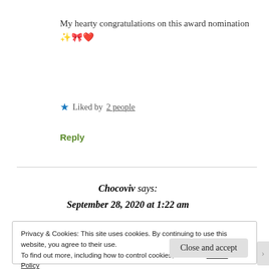My hearty congratulations on this award nomination ✨ 🎀 ❤️
★ Liked by 2 people
Reply
Chocoviv says: September 28, 2020 at 1:22 am
Privacy & Cookies: This site uses cookies. By continuing to use this website, you agree to their use.
To find out more, including how to control cookies, see here: Cookie Policy
Close and accept